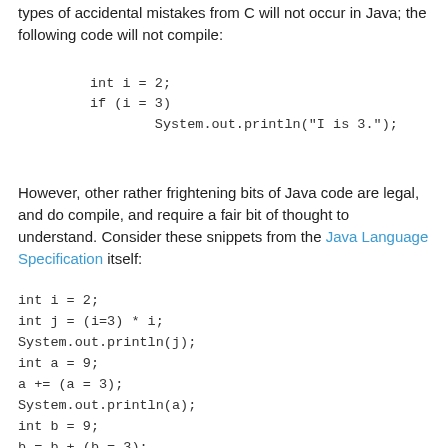types of accidental mistakes from C will not occur in Java; the following code will not compile:
However, other rather frightening bits of Java code are legal, and do compile, and require a fair bit of thought to understand. Consider these snippets from the Java Language Specification itself: